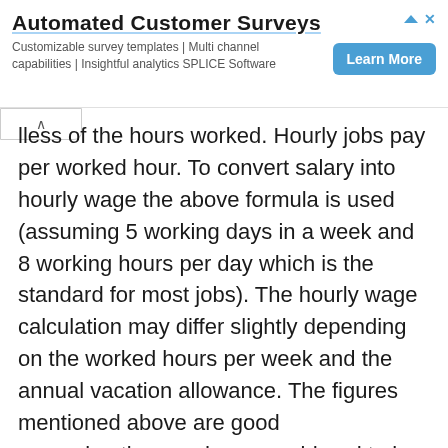[Figure (other): Advertisement banner for Automated Customer Surveys by SPLICE Software with a Learn More button]
lless of the hours worked. Hourly jobs pay per worked hour. To convert salary into hourly wage the above formula is used (assuming 5 working days in a week and 8 working hours per day which is the standard for most jobs). The hourly wage calculation may differ slightly depending on the worked hours per week and the annual vacation allowance. The figures mentioned above are good approximations and are considered to be the standard. One major difference between salaried employees and hourly paid employees is overtime eligibility. Salaried employees are usually exempt from overtime as opposed to hourly paid staff.